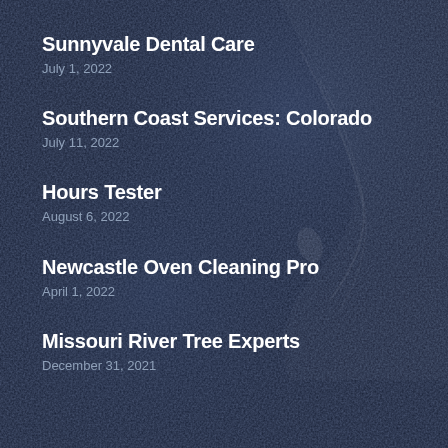Sunnyvale Dental Care
July 1, 2022
Southern Coast Services: Colorado
July 11, 2022
Hours Tester
August 6, 2022
Newcastle Oven Cleaning Pro
April 1, 2022
Missouri River Tree Experts
December 31, 2021